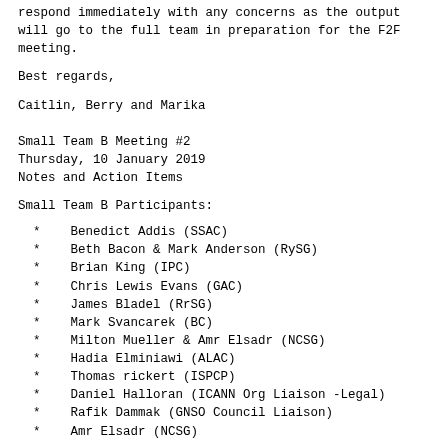respond immediately with any concerns as the output
will go to the full team in preparation for the F2F
meeting.
Best regards,
Caitlin, Berry and Marika
Small Team B Meeting #2
Thursday, 10 January 2019
Notes and Action Items
Small Team B Participants:
*    Benedict Addis (SSAC)
*    Beth Bacon & Mark Anderson (RySG)
*    Brian King (IPC)
*    Chris Lewis Evans (GAC)
*    James Bladel (RrSG)
*    Mark Svancarek (BC)
*    Milton Mueller & Amr Elsadr (NCSG)
*    Hadia Elminiawi (ALAC)
*    Thomas rickert (ISPCP)
*    Daniel Halloran (ICANN Org Liaison -Legal)
*    Rafik Dammak (GNSO Council Liaison)
*    Amr Elsadr (NCSG)
Actions Items: